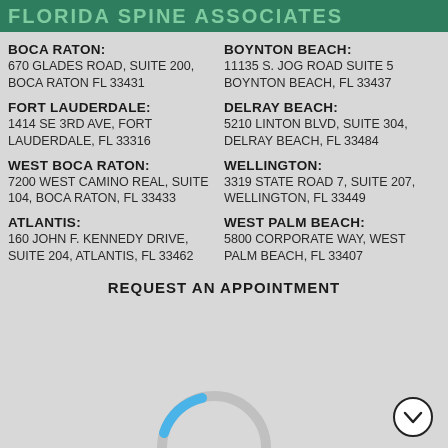FLORIDA SPINE ASSOCIATES
BOCA RATON: 670 GLADES ROAD, SUITE 200, BOCA RATON FL 33431
BOYNTON BEACH: 11135 S. JOG ROAD SUITE 5 BOYNTON BEACH, FL 33437
FORT LAUDERDALE: 1414 SE 3RD AVE, FORT LAUDERDALE, FL 33316
DELRAY BEACH: 5210 LINTON BLVD, SUITE 304, DELRAY BEACH, FL 33484
WEST BOCA RATON: 7200 WEST CAMINO REAL, SUITE 104, BOCA RATON, FL 33433
WELLINGTON: 3319 STATE ROAD 7, SUITE 207, WELLINGTON, FL 33449
ATLANTIS: 160 JOHN F. KENNEDY DRIVE, SUITE 204, ATLANTIS, FL 33462
WEST PALM BEACH: 5800 CORPORATE WAY, WEST PALM BEACH, FL 33407
REQUEST AN APPOINTMENT
[Figure (other): Loading spinner with blue arc on grey circle, partially visible at bottom center of page]